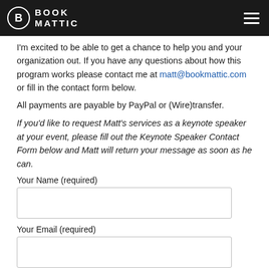BookMattic (logo and navigation header)
I'm excited to be able to get a chance to help you and your organization out. If you have any questions about how this program works please contact me at matt@bookmattic.com or fill in the contact form below.
All payments are payable by PayPal or (Wire)transfer.
If you'd like to request Matt's services as a keynote speaker at your event, please fill out the Keynote Speaker Contact Form below and Matt will return your message as soon as he can.
Your Name (required)
Your Email (required)